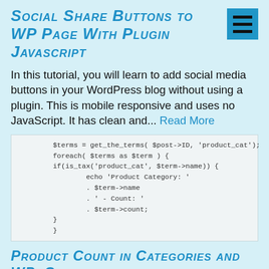Social Share Buttons to WP Page With Plugin Javascript
In this tutorial, you will learn to add social media buttons in your WordPress blog without using a plugin. This is mobile responsive and uses no JavaScript. It has clean and... Read More
[Figure (screenshot): Code snippet showing PHP code: $terms = get_the_terms( $post->ID, 'product_cat'); foreach( $terms as $term ) { if(is_tax('product_cat', $term->name)) { echo 'Product Category: ' . $term->name . ' - Count: ' . $term->count; } }]
Product Count in Categories and WP_Query count posts
In this post, I shared how to Display Product Count